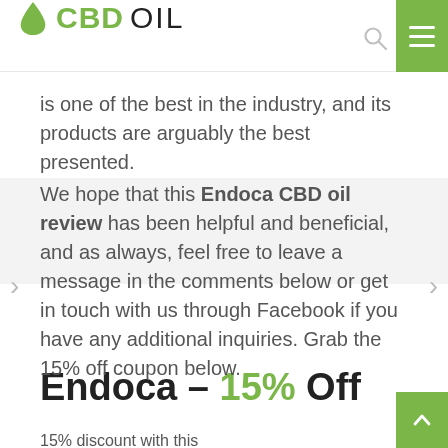CBD OIL
is one of the best in the industry, and its products are arguably the best presented.
We hope that this Endoca CBD oil review has been helpful and beneficial, and as always, feel free to leave a message in the comments below or get in touch with us through Facebook if you have any additional inquiries. Grab the 15% off coupon below.
Endoca – 15% Off
15% discount with this promo code
CBDOILREVIEW15